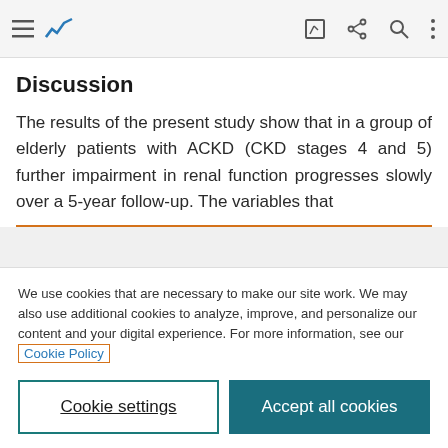Navigation bar with menu, chart icon, edit, share, search, and more icons
Discussion
The results of the present study show that in a group of elderly patients with ACKD (CKD stages 4 and 5) further impairment in renal function progresses slowly over a 5-year follow-up. The variables that
We use cookies that are necessary to make our site work. We may also use additional cookies to analyze, improve, and personalize our content and your digital experience. For more information, see our Cookie Policy
Cookie settings | Accept all cookies